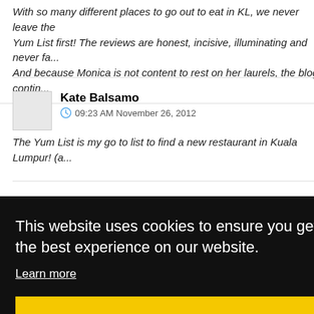With so many different places to go out to eat in KL, we never leave the Yum List first! The reviews are honest, incisive, illuminating and never fa... And because Monica is not content to rest on her laurels, the blog contin...
Kate Balsamo
09:23 AM November 26, 2012
The Yum List is my go to list to find a new restaurant in Kuala Lumpur! (a...
This website uses cookies to ensure you get the best experience on our website.
Learn more
Got it!
Great Blog ! I have lived in KL for 12 years - but this really helps.....